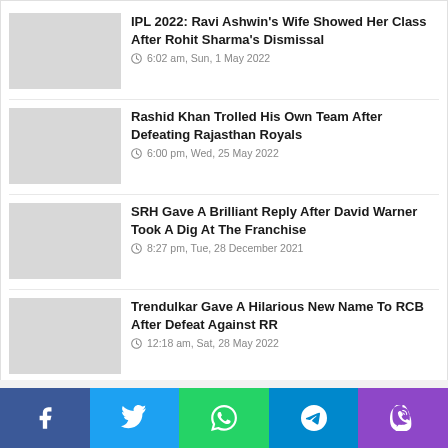IPL 2022: Ravi Ashwin's Wife Showed Her Class After Rohit Sharma's Dismissal
6:02 am, Sun, 1 May 2022
Rashid Khan Trolled His Own Team After Defeating Rajasthan Royals
6:00 pm, Wed, 25 May 2022
SRH Gave A Brilliant Reply After David Warner Took A Dig At The Franchise
8:27 pm, Tue, 28 December 2021
Trendulkar Gave A Hilarious New Name To RCB After Defeat Against RR
12:18 am, Sat, 28 May 2022